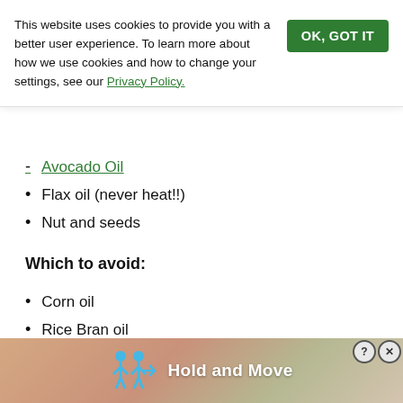This website uses cookies to provide you with a better user experience. To learn more about how we use cookies and how to change your settings, see our Privacy Policy.
Avocado Oil
Flax oil (never heat!!)
Nut and seeds
Which to avoid:
Corn oil
Rice Bran oil
Canola oil
Soybean oil
Cottonseed oil
Margarine
[Figure (screenshot): Ad banner at bottom showing stick figures and text 'Hold and Move' with close button]